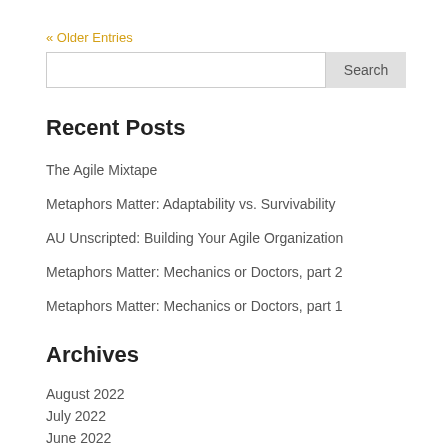« Older Entries
Search
Recent Posts
The Agile Mixtape
Metaphors Matter: Adaptability vs. Survivability
AU Unscripted: Building Your Agile Organization
Metaphors Matter: Mechanics or Doctors, part 2
Metaphors Matter: Mechanics or Doctors, part 1
Archives
August 2022
July 2022
June 2022